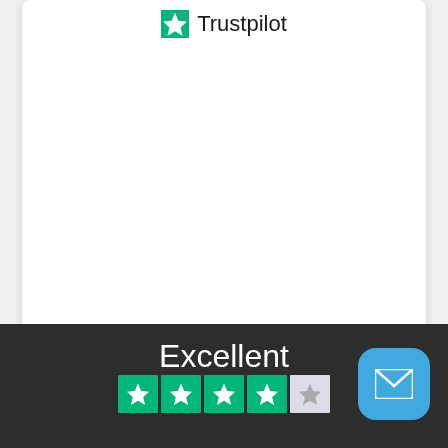[Figure (logo): Trustpilot logo with green star and 'Trustpilot' text]
Excellent
[Figure (infographic): Five green star rating boxes with Trustpilot stars, last one partially grey]
[Figure (infographic): Blue rounded square mail/envelope icon button]